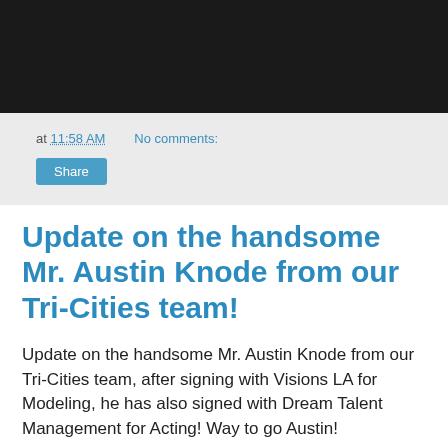[Figure (photo): Dark banner image at the top of a blog page]
at 11:58 AM   No comments:
Share
Update on the handsome Mr. Austin Knode from our Tri-Cities team!
Update on the handsome Mr. Austin Knode from our Tri-Cities team, after signing with Visions LA for Modeling, he has also signed with Dream Talent Management for Acting! Way to go Austin!
[Figure (photo): Black and white portrait photo of Austin Knode]